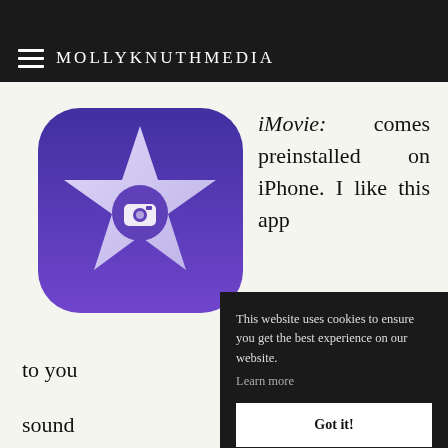of minutes  MOLLYKNUTHMEDIA
[Figure (logo): iMovie app icon - purple gradient rounded square with white star and camera icon]
iMovie: comes preinstalled on iPhone. I like this app
to you sound pretty
This website uses cookies to ensure you get the best experience on our website. Learn more
Got it!